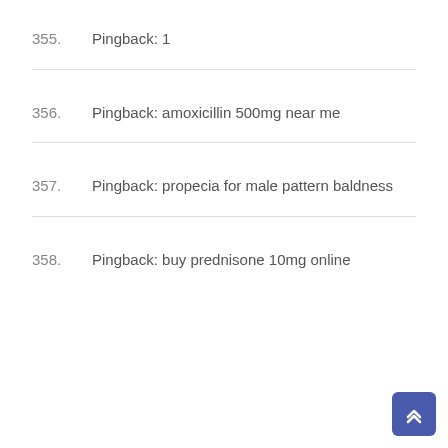355. Pingback: 1
356. Pingback: amoxicillin 500mg near me
357. Pingback: propecia for male pattern baldness
358. Pingback: buy prednisone 10mg online